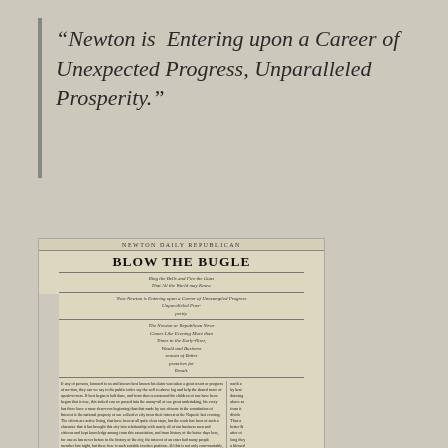“Newton is Entering upon a Career of Unexpected Progress, Unparalleled Prosperity.”
[Figure (photo): Scanned newspaper page of Newton Daily Republican with headline BLOW THE BUGLE and body text describing Newton entering a career of unexpected progress and unparalleled prosperity.]
Newton Daily Republican, 13